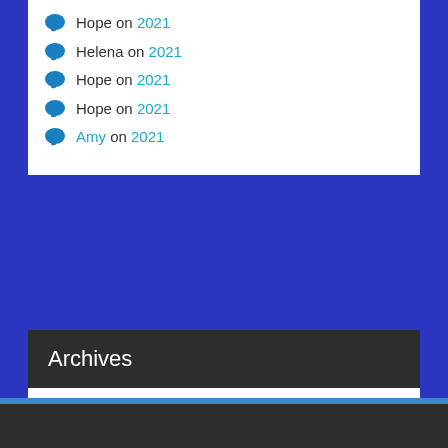Hope on 2021
Helena on 2021
Hope on 2021
Hope on 2021
Amy on 2021
Archives
Select Month